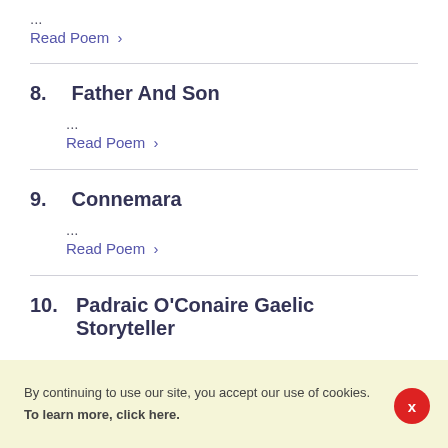...
Read Poem >
8.  Father And Son
...
Read Poem >
9.  Connemara
...
Read Poem >
10. Padraic O'Conaire Gaelic Storyteller
By continuing to use our site, you accept our use of cookies. To learn more, click here.